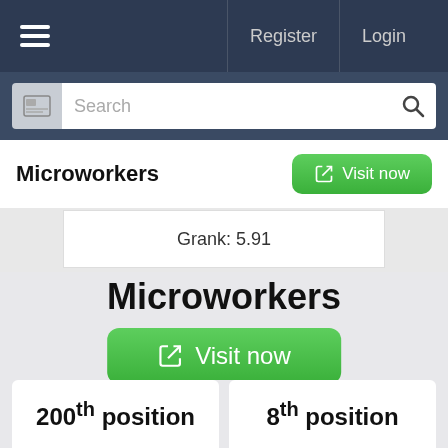Register | Login
[Figure (screenshot): Search bar with icon and magnifying glass button]
Microworkers
Visit now
Grank: 5.91
Microworkers
Visit now
Link not bookable (?)
200th position
8th position